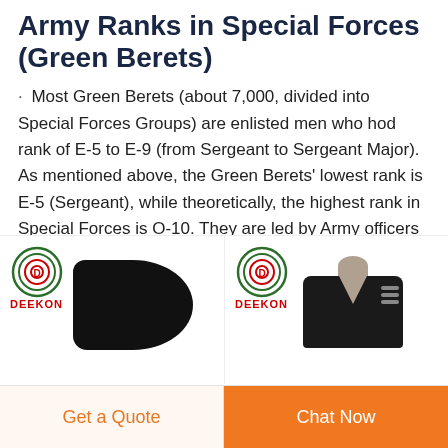Army Ranks in Special Forces (Green Berets)
Most Green Berets (about 7,000, divided into Special Forces Groups) are enlisted men who hod rank of E-5 to E-9 (from Sergeant to Sergeant Major). As mentioned above, the Green Berets' lowest rank is E-5 (Sergeant), while theoretically, the highest rank in Special Forces is O-10. They are led by Army officers who hold the rank of O-1 to O-10 ...
[Figure (photo): DEEKON branded black beret product photo with DEEKON logo (target-style icon with letter D)]
[Figure (photo): DEEKON branded black military jacket on mannequin with DEEKON logo (target-style icon with letter D)]